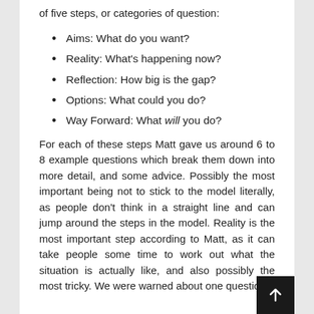of five steps, or categories of question:
Aims: What do you want?
Reality: What's happening now?
Reflection: How big is the gap?
Options: What could you do?
Way Forward: What will you do?
For each of these steps Matt gave us around 6 to 8 example questions which break them down into more detail, and some advice. Possibly the most important being not to stick to the model literally, as people don't think in a straight line and can jump around the steps in the model. Reality is the most important step according to Matt, as it can take people some time to work out what the situation is actually like, and also possibly the most tricky. We were warned about one question